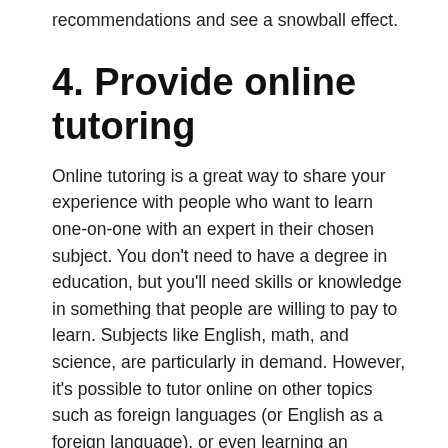recommendations and see a snowball effect.
4. Provide online tutoring
Online tutoring is a great way to share your experience with people who want to learn one-on-one with an expert in their chosen subject. You don't need to have a degree in education, but you'll need skills or knowledge in something that people are willing to pay to learn. Subjects like English, math, and science, are particularly in demand. However, it's possible to tutor online on other topics such as foreign languages (or English as a foreign language), or even learning an instrument.
There are numerous online agencies that match people with tutors in their chosen subject, so you won't have to actively search or advertise for clients. Generally, you fill